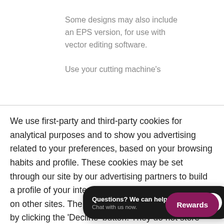Some designs may also include an EPS version, for use with vector editing software.

Use your cutting machine's
We use first-party and third-party cookies for analytical purposes and to show you advertising related to your preferences, based on your browsing habits and profile. These cookies may be set through our site by our advertising partners to build a profile of your interests and show you relevant ads on other sites. The only way to opt out of this data is by clicking the 'Decline' button. They do not store directly personal information, but are based on uniquely identifying your profile. Because we do not sell any other categories of personal data, once you turn off these trackers, there is no other action needed.
[Figure (other): Chat widget with dark background showing 'Questions? We can help. Chat with us now.' text and a blue speech bubble icon]
[Figure (other): Purple rounded rectangle button labeled 'Rewards']